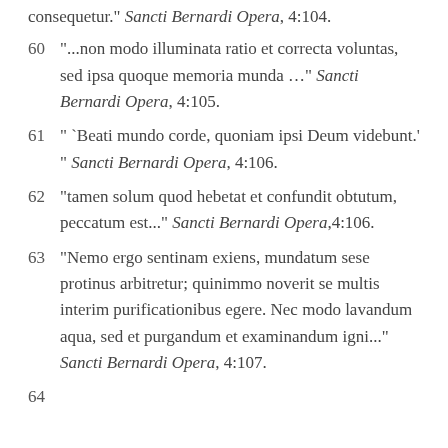consequetur." Sancti Bernardi Opera, 4:104.
60. "...non modo illuminata ratio et correcta voluntas, sed ipsa quoque memoria munda …" Sancti Bernardi Opera, 4:105.
61. " `Beati mundo corde, quoniam ipsi Deum videbunt.' " Sancti Bernardi Opera, 4:106.
62. "tamen solum quod hebetat et confundit obtutum, peccatum est..." Sancti Bernardi Opera, 4:106.
63. "Nemo ergo sentinam exiens, mundatum sese protinus arbitretur; quinimmo noverit se multis interim purificationibus egere. Nec modo lavandum aqua, sed et purgandum et examinandum igni..." Sancti Bernardi Opera, 4:107.
64.